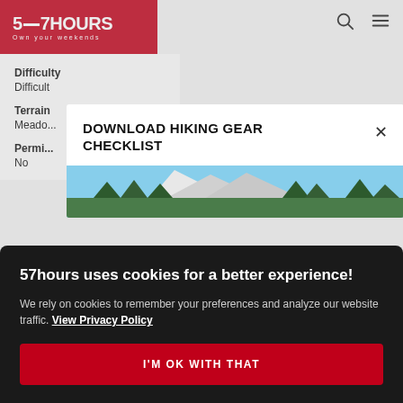57HOURS — Own your weekends
Difficulty
Difficult
Terrain
Meadows
Permits
No
DOWNLOAD HIKING GEAR CHECKLIST
[Figure (photo): Mountain with snow-capped peak, pine trees in foreground, blue sky]
57hours uses cookies for a better experience!
We rely on cookies to remember your preferences and analyze our website traffic. View Privacy Policy
I'M OK WITH THAT